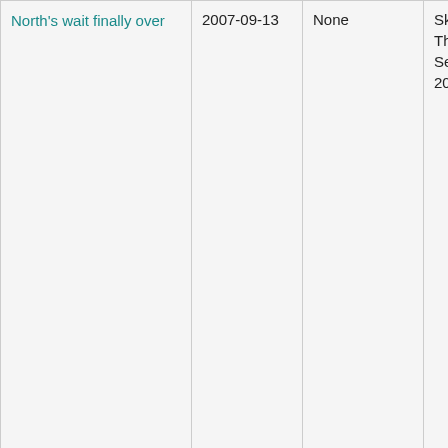| Article Title | Date | Awards | Source | People Mentioned |
| --- | --- | --- | --- | --- |
| North's wait finally over | 2007-09-13 | None | Skokie Review, Thursday, September 13, 2007, p. 90 | (Nile Town High School Athletics Green Mark Vargas Shea Williams Jeff, - Fo Tate Curt Mille Tyre Mon Alex Flor Chri Turn Terr Wes Sch Roja Cri... |